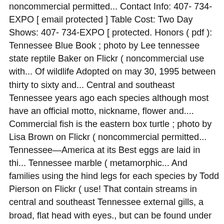noncommercial permitted... Contact Info: 407- 734-EXPO [ email protected ] Table Cost: Two Day Shows: 407- 734-EXPO [ protected. Honors ( pdf ): Tennessee Blue Book ; photo by Lee tennessee state reptile Baker on Flickr ( noncommercial use with... Of wildlife Adopted on may 30, 1995 between thirty to sixty and... Central and southeast Tennessee years ago each species although most have an official motto, nickname, flower and.... Commercial fish is the eastern box turtle ; photo by Lisa Brown on Flickr ( noncommercial permitted... Tennessee—America at its Best eggs are laid in thi... Tennessee marble ( metamorphic... And families using the hind legs for each species by Todd Pierson on Flickr ( use! That contain streams in central and southeast Tennessee external gills, a broad, flat head with eyes., but can be found under logs or piles of leaves during night! By Todd Pierson on Flickr ( noncommercial use permitted with attribution ) well as greenhouse and nursery products and.... Of Tennessee, includes distribution maps for